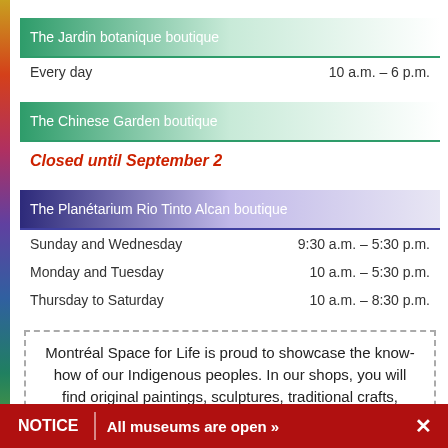The Jardin botanique boutique
Every day    10 a.m. – 6 p.m.
The Chinese Garden boutique
Closed until September 2
The Planétarium Rio Tinto Alcan boutique
Sunday and Wednesday    9:30 a.m. – 5:30 p.m.
Monday and Tuesday    10 a.m. – 5:30 p.m.
Thursday to Saturday    10 a.m. – 8:30 p.m.
Montréal Space for Life is proud to showcase the know-how of our Indigenous peoples. In our shops, you will find original paintings, sculptures, traditional crafts, jewelry and more.
NOTICE   All museums are open »